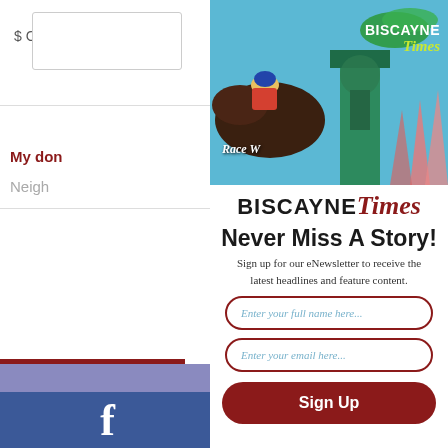[Figure (screenshot): Partial left sidebar of a website showing a donation/custom amount input, 'My don' and 'Neigh' text labels, a dark red block, purple bar, and Facebook blue bar with 'f' letter]
[Figure (photo): Biscayne Times magazine covers showing horse racing and a colorful building, with 'BISCAYNE Times' logo and 'Race W...' text]
BISCAYNE Times
Never Miss A Story!
Sign up for our eNewsletter to receive the latest headlines and feature content.
Enter your full name here...
Enter your email here...
Sign Up